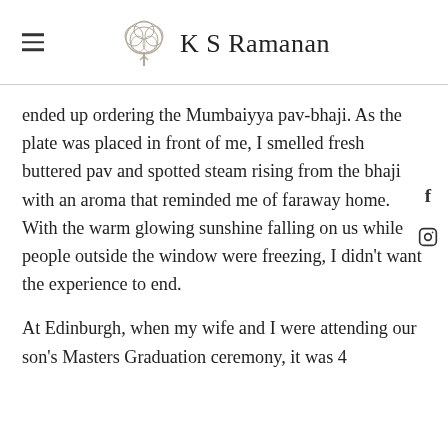K S Ramanan
ended up ordering the Mumbaiyya pav-bhaji. As the plate was placed in front of me, I smelled fresh buttered pav and spotted steam rising from the bhaji with an aroma that reminded me of faraway home. With the warm glowing sunshine falling on us while people outside the window were freezing, I didn't want the experience to end.
At Edinburgh, when my wife and I were attending our son's Masters Graduation ceremony, it was 4